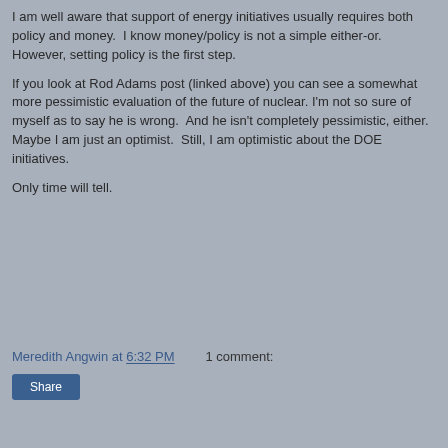I am well aware that support of energy initiatives usually requires both policy and money.  I know money/policy is not a simple either-or.  However, setting policy is the first step.
If you look at Rod Adams post (linked above) you can see a somewhat more pessimistic evaluation of the future of nuclear. I'm not so sure of myself as to say he is wrong.  And he isn't completely pessimistic, either. Maybe I am just an optimist.  Still, I am optimistic about the DOE initiatives.
Only time will tell.
Meredith Angwin at 6:32 PM    1 comment:
Share